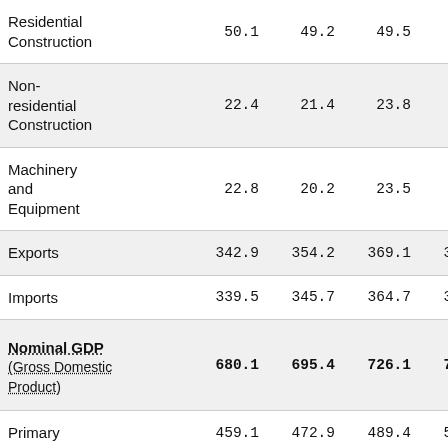| Category | Col1 | Col2 | Col3 | Col4 | Col5 |
| --- | --- | --- | --- | --- | --- |
| Residential Construction | 50.1 | 49.2 | 49.5 | 53.3 | 5… |
| Non-residential Construction | 22.4 | 21.4 | 23.8 | 26.7 | 2… |
| Machinery and Equipment | 22.8 | 20.2 | 23.5 | 25.8 | 2… |
| Exports | 342.9 | 354.2 | 369.1 | 377.1 | 38… |
| Imports | 339.5 | 345.7 | 364.7 | 373.8 | 37… |
| Nominal GDP (Gross Domestic Product) | 680.1 | 695.4 | 726.1 | 759.4 | 79… |
| Primary | 459.1 | 472.9 | 489.4 | 511.6 | 51… |